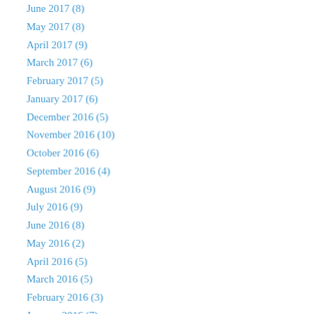June 2017 (8)
May 2017 (8)
April 2017 (9)
March 2017 (6)
February 2017 (5)
January 2017 (6)
December 2016 (5)
November 2016 (10)
October 2016 (6)
September 2016 (4)
August 2016 (9)
July 2016 (9)
June 2016 (8)
May 2016 (2)
April 2016 (5)
March 2016 (5)
February 2016 (3)
January 2016 (7)
December 2015 (5)
November 2015 (4)